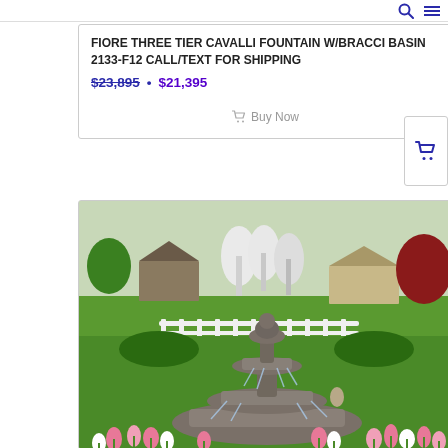FIORE THREE TIER CAVALLI FOUNTAIN W/BRACCI BASIN 2133-F12 CALL/TEXT FOR SHIPPING
$23,895 • $21,395
Buy Now
[Figure (photo): A three-tier classical stone garden fountain surrounded by pink and white tulips in a lush green landscape with trees and houses in the background.]